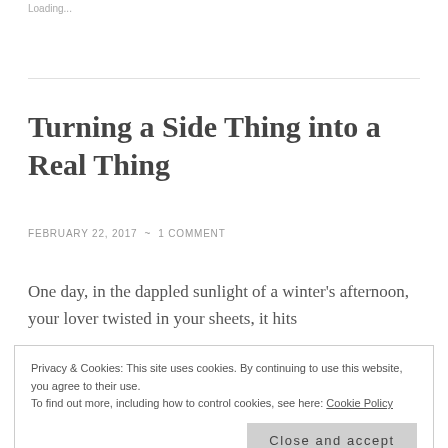Loading...
Turning a Side Thing into a Real Thing
FEBRUARY 22, 2017  ~  1 COMMENT
One day, in the dappled sunlight of a winter's afternoon, your lover twisted in your sheets, it hits
Privacy & Cookies: This site uses cookies. By continuing to use this website, you agree to their use. To find out more, including how to control cookies, see here: Cookie Policy
Close and accept